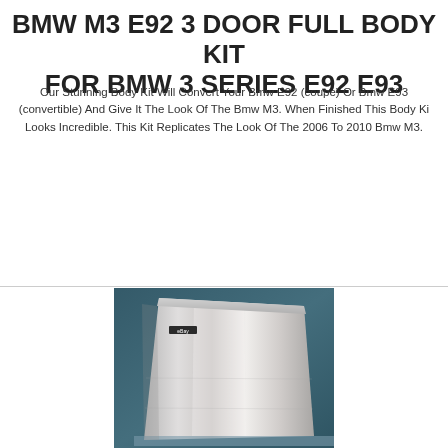BMW M3 E92 3 DOOR FULL BODY KIT FOR BMW 3 SERIES E92 E93
Our Stunning Body Kit Will Convert Your Bmw E92 (coupe) Or Bmw E93 (convertible) And Give It The Look Of The Bmw M3. When Finished This Body Kit Looks Incredible. This Kit Replicates The Look Of The 2006 To 2010 Bmw M3.
$2193.16
[Figure (photo): Product photo of a stainless steel panel or door component against a dark teal fabric background]